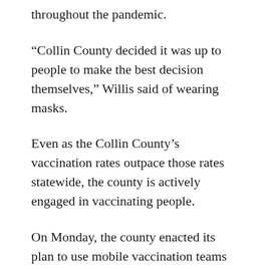Collin County officials are doing what they have done throughout the pandemic.
“Collin County decided it was up to people to make the best decision themselves,” Willis said of wearing masks.
Even as the Collin County’s vaccination rates outpace those rates statewide, the county is actively engaged in vaccinating people.
On Monday, the county enacted its plan to use mobile vaccination teams to reach home-bound people or those who cannot otherwise reach a local pharmacy or doctor’s office to receive a vaccine here.